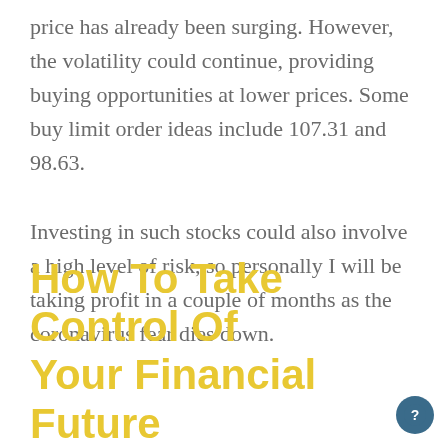price has already been surging. However, the volatility could continue, providing buying opportunities at lower prices. Some buy limit order ideas include 107.31 and 98.63.

Investing in such stocks could also involve a high level of risk, so personally I will be taking profit in a couple of months as the coronavirus fear dies down.
How To Take Control Of Your Financial Future